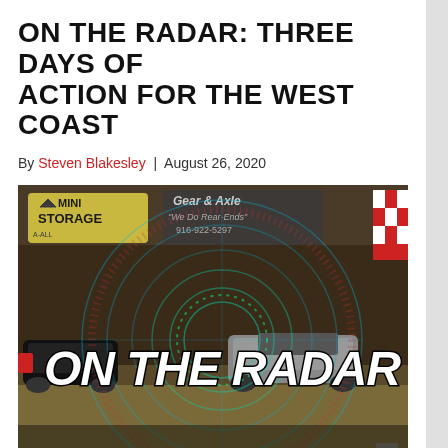ON THE RADAR: THREE DAYS OF ACTION FOR THE WEST COAST
By Steven Blakesley | August 26, 2020
[Figure (photo): Racing cars on a track at a motorsport event with radar-style graphic overlay and bold white italic text reading 'ON THE RADAR'. Background shows trackside billboards including 'A-ALL MINI STORAGE' and 'Gear & Axle - We Do Rear-Ends - 916-922-5297'.]